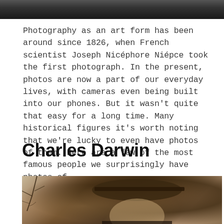[Figure (photo): Top portion of a historical black and white photograph, cropped at the top of the page]
Photography as an art form has been around since 1826, when French scientist Joseph Nicéphore Niépce took the first photograph. In the present, photos are now a part of our everyday lives, with cameras even being built into our phones. But it wasn't quite that easy for a long time. Many historical figures it's worth noting that we're lucky to even have photos of them. Here are a few of the most famous people we surprisingly have photos of.
Charles Darwin
[Figure (photo): Sepia-toned historical photograph of Charles Darwin wearing a wide-brimmed hat, with bare tree branches visible on the left side]